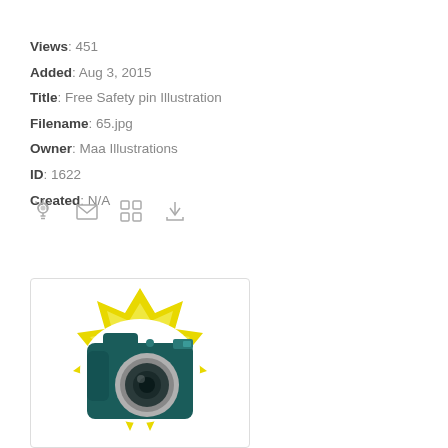Views: 451
Added: Aug 3, 2015
Title: Free Safety pin Illustration
Filename: 65.jpg
Owner: Maa Illustrations
ID: 1622
Created: N/A
[Figure (illustration): A teal/dark green digital camera illustration on a yellow starburst background, shown as a thumbnail with white border and light gray outer border.]